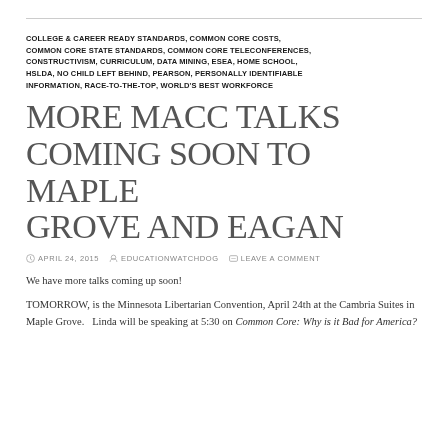COLLEGE & CAREER READY STANDARDS, COMMON CORE COSTS, COMMON CORE STATE STANDARDS, COMMON CORE TELECONFERENCES, CONSTRUCTIVISM, CURRICULUM, DATA MINING, ESEA, HOME SCHOOL, HSLDA, NO CHILD LEFT BEHIND, PEARSON, PERSONALLY IDENTIFIABLE INFORMATION, RACE-TO-THE-TOP, WORLD'S BEST WORKFORCE
MORE MACC TALKS COMING SOON TO MAPLE GROVE AND EAGAN
APRIL 24, 2015   EDUCATIONWATCHDOG   LEAVE A COMMENT
We have more talks coming up soon!
TOMORROW, is the Minnesota Libertarian Convention, April 24th at the Cambria Suites in Maple Grove.   Linda will be speaking at 5:30 on Common Core: Why is it Bad for America?